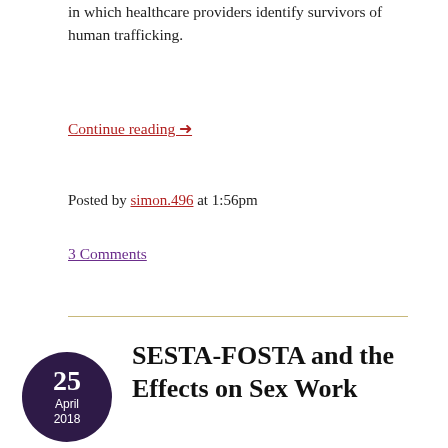in which healthcare providers identify survivors of human trafficking.
Continue reading →
Posted by simon.496 at 1:56pm
3 Comments
SESTA-FOSTA and the Effects on Sex Work
Brief History
On March 21, 2018, the Senate voted ninety-seven to two on the Fight Online Sex Trafficking (FOSTA) bill. This bill